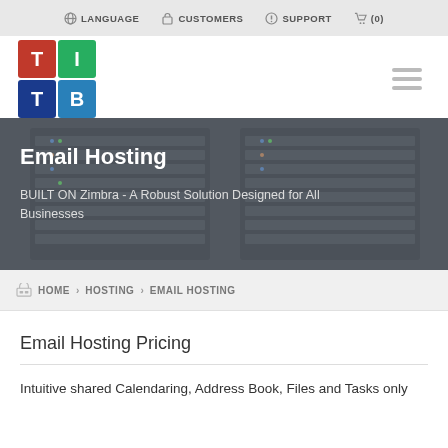LANGUAGE   CUSTOMERS   SUPPORT   (0)
[Figure (logo): TITB logo - 2x2 colored grid with letters T, I, T, B]
Email Hosting
BUILT ON Zimbra - A Robust Solution Designed for All Businesses
HOME > HOSTING > EMAIL HOSTING
Email Hosting Pricing
Intuitive shared Calendaring, Address Book, Files and Tasks only